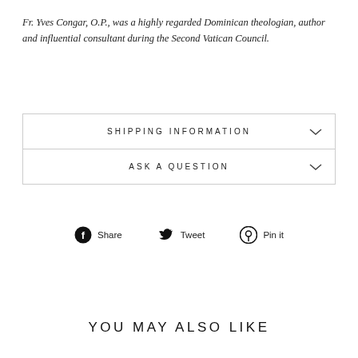Fr. Yves Congar, O.P., was a highly regarded Dominican theologian, author and influential consultant during the Second Vatican Council.
SHIPPING INFORMATION
ASK A QUESTION
Share  Tweet  Pin it
YOU MAY ALSO LIKE